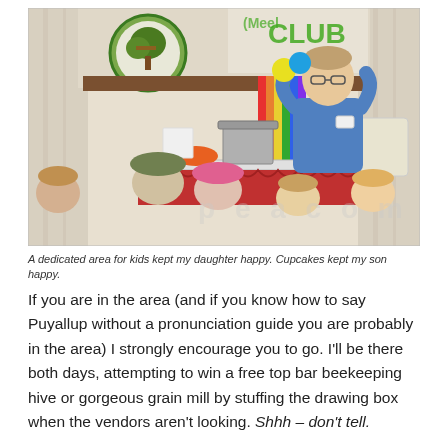[Figure (photo): A man in a blue shirt holding colorful balls stands behind a table with cooking equipment and supplies, presenting to a group of children seated in front of him. A banner with a tree logo and the word 'CLUB' is visible in the background.]
A dedicated area for kids kept my daughter happy. Cupcakes kept my son happy.
If you are in the area (and if you know how to say Puyallup without a pronunciation guide you are probably in the area) I strongly encourage you to go. I'll be there both days, attempting to win a free top bar beekeeping hive or gorgeous grain mill by stuffing the drawing box when the vendors aren't looking. Shhh – don't tell.